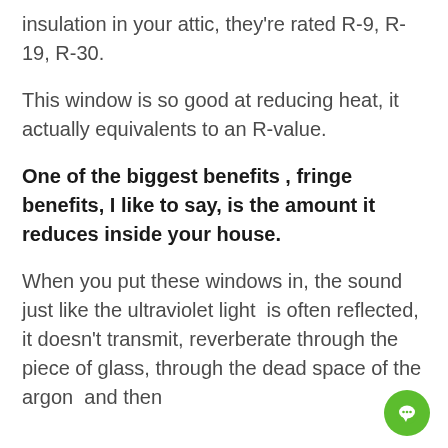insulation in your attic, they're rated R-9, R-19, R-30.
This window is so good at reducing heat, it actually equivalents to an R-value.
One of the biggest benefits , fringe benefits, I like to say, is the amount it reduces inside your house.
When you put these windows in, the sound just like the ultraviolet light  is often reflected, it doesn't transmit, reverberate through the piece of glass, through the dead space of the argon  and then through the inner glass on the inside into...